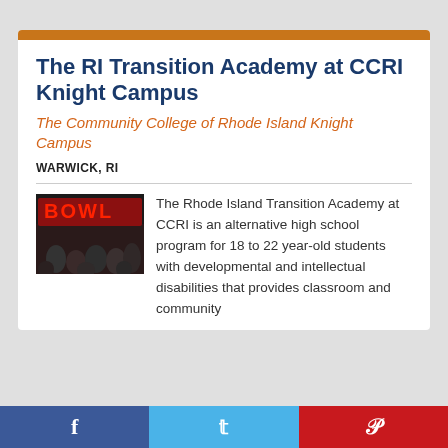The RI Transition Academy at CCRI Knight Campus
The Community College of Rhode Island Knight Campus
WARWICK, RI
[Figure (photo): Group photo of students in front of a BOWL sign with red neon lettering]
The Rhode Island Transition Academy at CCRI is an alternative high school program for 18 to 22 year-old students with developmental and intellectual disabilities that provides classroom and community